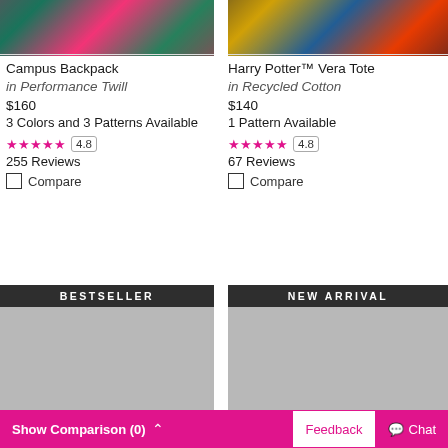[Figure (photo): Campus Backpack floral pattern product image (top cropped)]
[Figure (photo): Harry Potter Vera Tote floral pattern product image (top cropped)]
Campus Backpack in Performance Twill
$160
3 Colors and 3 Patterns Available
4.8
255 Reviews
Harry Potter™ Vera Tote in Recycled Cotton
$140
1 Pattern Available
4.8
67 Reviews
Compare
Compare
[Figure (photo): BESTSELLER product image placeholder]
[Figure (photo): NEW ARRIVAL product image placeholder]
Show Comparison (0)
Feedback
Chat